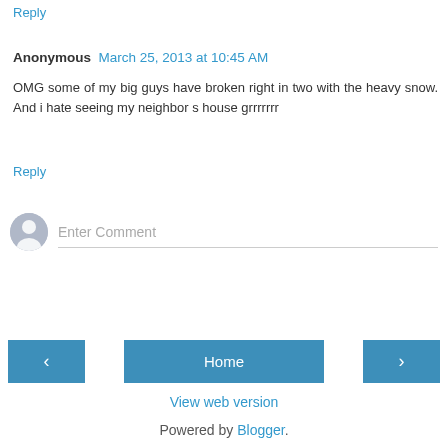Reply
Anonymous  March 25, 2013 at 10:45 AM
OMG some of my big guys have broken right in two with the heavy snow. And i hate seeing my neighbor s house grrrrrrr
Reply
[Figure (other): Comment input area with avatar icon and 'Enter Comment' placeholder text field]
Home navigation bar with left arrow, Home button, and right arrow
View web version
Powered by Blogger.